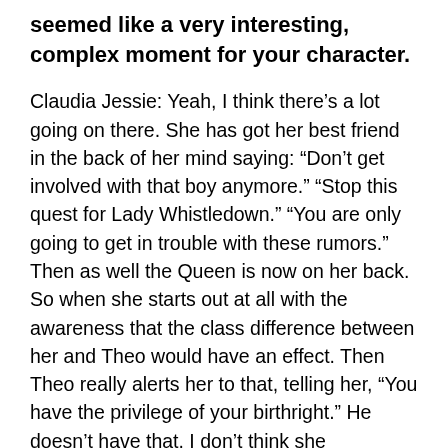seemed like a very interesting, complex moment for your character.
Claudia Jessie: Yeah, I think there's a lot going on there. She has got her best friend in the back of her mind saying: “Don’t get involved with that boy anymore.” “Stop this quest for Lady Whistledown.” “You are only going to get in trouble with these rumors.” Then as well the Queen is now on her back. So when she starts out at all with the awareness that the class difference between her and Theo would have an effect. Then Theo really alerts her to that, telling her, “You have the privilege of your birthright.” He doesn’t have that. I don’t think she understands it, I think they would have kissed if Penelope hadn’t said anything. I think Eloise would have become braver and I think she would have had the compassion to understand that yes, our lives are